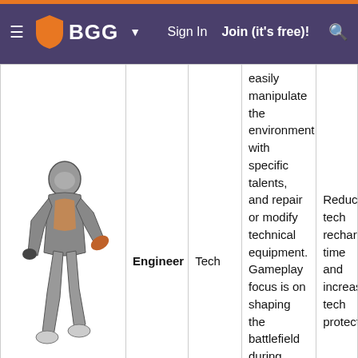BGG — Sign In   Join (it's free)!
| Image | Name | Type | Description | Bonus |
| --- | --- | --- | --- | --- |
| [Engineer figure] | Engineer | Tech | easily manipulate the environment with specific talents, and repair or modify technical equipment. Gameplay focus is on shaping the battlefield during combat, healing the party, and debuffing enemies. | Reduced tech recharge time and increased tech protection |
|  |  |  | A powerful combatant, able to |  |